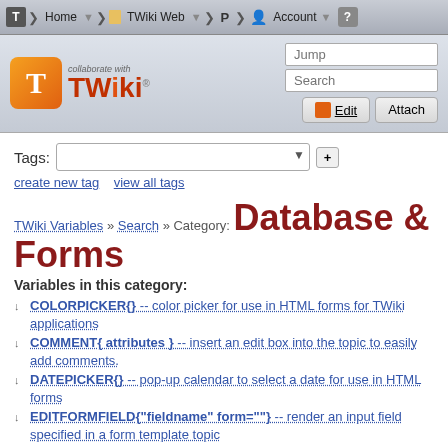T | Home | TWiki Web | P | Account | ?
[Figure (logo): TWiki logo with orange T icon and 'collaborate with TWiki' text, alongside Jump and Search input boxes, Edit and Attach buttons]
Tags: [dropdown] [+]
create new tag   view all tags
TWiki Variables » Search » Category: Database & Forms
Variables in this category:
COLORPICKER{} -- color picker for use in HTML forms for TWiki applications
COMMENT{ attributes } -- insert an edit box into the topic to easily add comments.
DATEPICKER{} -- pop-up calendar to select a date for use in HTML forms
EDITFORMFIELD{"fieldname" form=""} -- render an input field specified in a form template topic
EDITTABLE{ attributes } -- edit TWiki tables using edit fields and other input fields
FORMFIELD{"fieldname"} -- renders a field in the form...